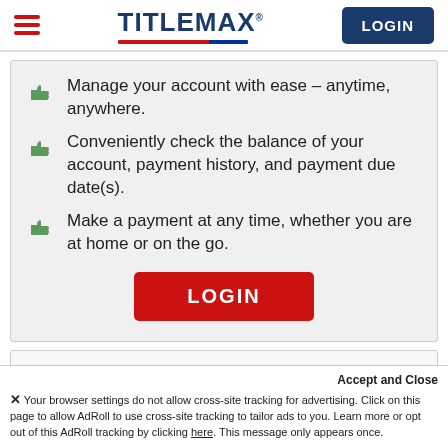TitleMax® | LOGIN
Manage your account with ease – anytime, anywhere.
Conveniently check the balance of your account, payment history, and payment due date(s).
Make a payment at any time, whether you are at home or on the go.
LOGIN (button)
Discovery Center
Visit our Discovery Center for fun facts, infographics and more.
Accept and Close
× Your browser settings do not allow cross-site tracking for advertising. Click on this page to allow AdRoll to use cross-site tracking to tailor ads to you. Learn more or opt out of this AdRoll tracking by clicking here. This message only appears once.